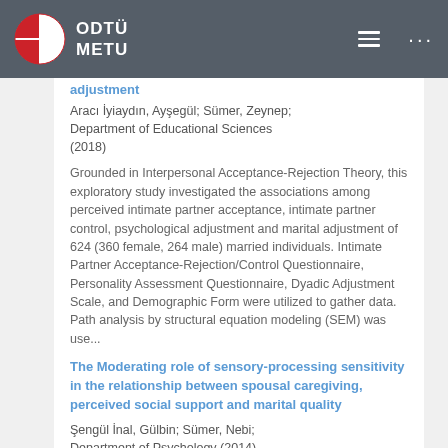ODTÜ METU
adjustment
Aracı İyiaydın, Ayşegül; Sümer, Zeynep; Department of Educational Sciences (2018)
Grounded in Interpersonal Acceptance-Rejection Theory, this exploratory study investigated the associations among perceived intimate partner acceptance, intimate partner control, psychological adjustment and marital adjustment of 624 (360 female, 264 male) married individuals. Intimate Partner Acceptance-Rejection/Control Questionnaire, Personality Assessment Questionnaire, Dyadic Adjustment Scale, and Demographic Form were utilized to gather data. Path analysis by structural equation modeling (SEM) was use...
The Moderating role of sensory-processing sensitivity in the relationship between spousal caregiving, perceived social support and marital quality
Şengül İnal, Gülbin; Sümer, Nebi; Department of Psychology (2014)